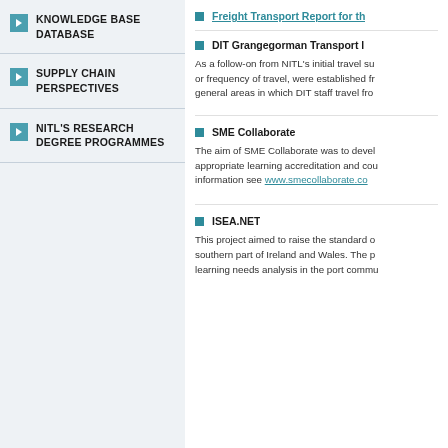KNOWLEDGE BASE DATABASE
SUPPLY CHAIN PERSPECTIVES
NITL'S RESEARCH DEGREE PROGRAMMES
Freight Transport Report for th
DIT Grangegorman Transport l
As a follow-on from NITL's initial travel su or frequency of travel, were established fr general areas in which DIT staff travel fro
SME Collaborate
The aim of SME Collaborate was to devel appropriate learning accreditation and cou information see www.smecollaborate.co
ISEA.NET
This project aimed to raise the standard o southern part of Ireland and Wales. The p learning needs analysis in the port commu